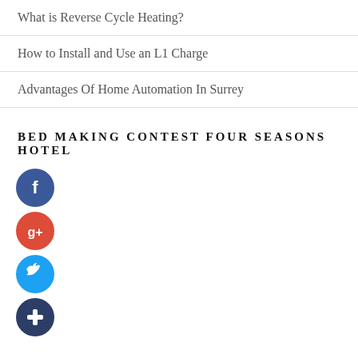What is Reverse Cycle Heating?
How to Install and Use an L1 Charge
Advantages Of Home Automation In Surrey
BED MAKING CONTEST FOUR SEASONS HOTEL
[Figure (illustration): Four social media share buttons stacked vertically: Facebook (blue circle with white f), Google+ (red circle with white g+), Twitter (light blue circle with white bird), and a dark blue circle with white plus sign.]